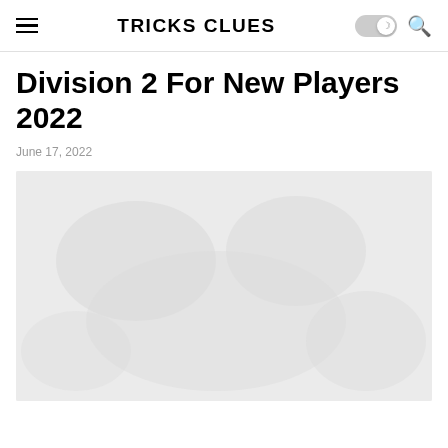TRICKS CLUES
Division 2 For New Players 2022
June 17, 2022
[Figure (photo): Featured article image, appears blurred/placeholder, light gray background]